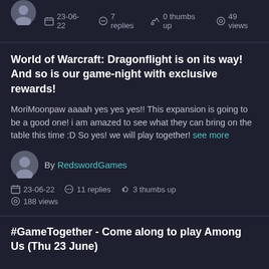23-06-22  7 replies  0 thumbs up  49 views
World of Warcraft: Dragonflight is on its way! And so is our game-night with exclusive rewards!
MoriMoonpaw aaaah yes yes yes!! This expansion is going to be a good one! i am amazed to see what they can bring on the table this time :D So yes! we will play together! see more
By RedswordGames
23-06-22  11 replies  3 thumbs up
188 views
#GameTogether - Come along to play Among Us (Thu 23 June)